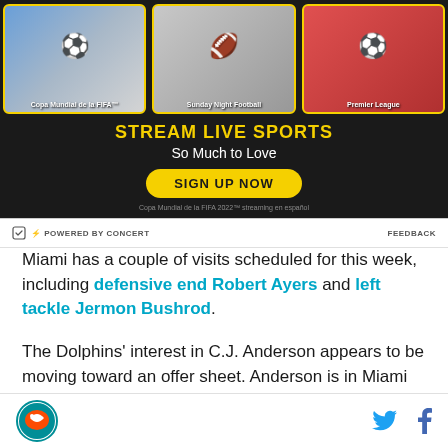[Figure (screenshot): Advertisement banner for streaming live sports service. Shows three athlete photos (soccer player #10 in Argentina jersey, football player #12 in red jersey, soccer player in red Liverpool jersey) in yellow-bordered cards. Text reads 'STREAM LIVE SPORTS / So Much to Love' with a yellow 'SIGN UP NOW' button. Labels: 'Copa Mundial de la FIFA™', 'Sunday Night Football', 'Premier League'. Fine print: 'Copa Mundial de la FIFA 2022™ streaming en español']
⚡ POWERED BY CONCERT   FEEDBACK
Miami has a couple of visits scheduled for this week, including defensive end Robert Ayers and left tackle Jermon Bushrod.
The Dolphins' interest in C.J. Anderson appears to be moving toward an offer sheet. Anderson is in Miami